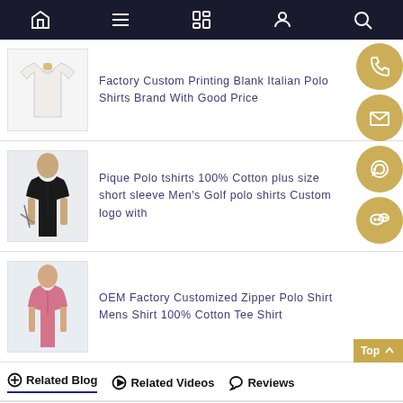Navigation bar with home, menu, catalog, user, search icons
Factory Custom Printing Blank Italian Polo Shirts Brand With Good Price
[Figure (photo): White polo shirt product photo]
Pique Polo tshirts 100% Cotton plus size short sleeve Men's Golf polo shirts Custom logo with
[Figure (photo): Man wearing black polo shirt with golf clubs]
OEM Factory Customized Zipper Polo Shirt Mens Shirt 100% Cotton Tee Shirt
[Figure (photo): Man wearing pink polo shirt]
Related Blog   Related Videos   Reviews
Raidy Boer Enterprise Provides Financial Aid in Construc
Joint Efforts Made to Offer More Educational Opportunities ——Ra